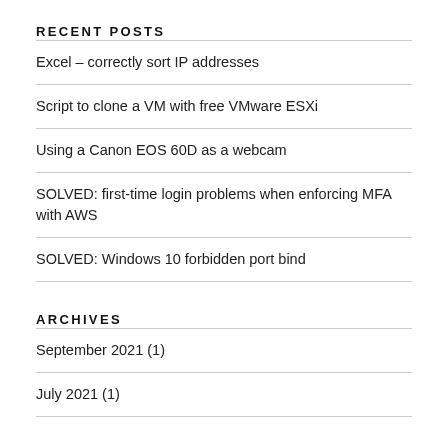RECENT POSTS
Excel – correctly sort IP addresses
Script to clone a VM with free VMware ESXi
Using a Canon EOS 60D as a webcam
SOLVED: first-time login problems when enforcing MFA with AWS
SOLVED: Windows 10 forbidden port bind
ARCHIVES
September 2021 (1)
July 2021 (1)